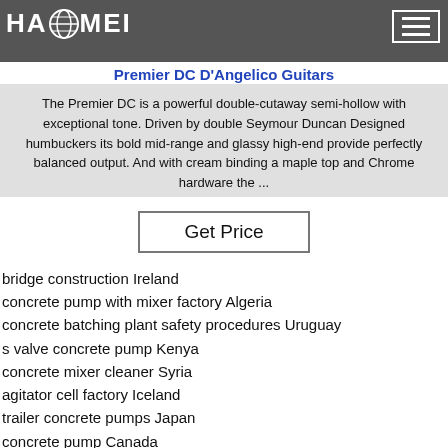Premier DC D'Angelico Guitars
The Premier DC is a powerful double-cutaway semi-hollow with exceptional tone. Driven by double Seymour Duncan Designed humbuckers its bold mid-range and glassy high-end provide perfectly balanced output. And with cream binding a maple top and Chrome hardware the ...
Get Price
bridge construction Ireland
concrete pump with mixer factory Algeria
concrete batching plant safety procedures Uruguay
s valve concrete pump Kenya
concrete mixer cleaner Syria
agitator cell factory Iceland
trailer concrete pumps Japan
concrete pump Canada
semi automatic block making machine manufacturer for sale
hot sales stabilized mobile ready mixed concrete batching plant i
china manufacturer ce approved concrete mixing plant